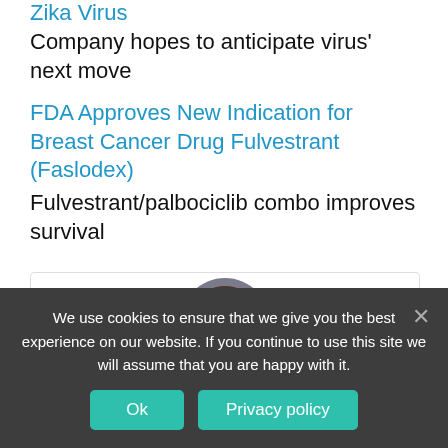Zika Virus
Company hopes to anticipate virus' next move
FDA Approves New Indication for Breast Cancer Drug Fulvestrant (Faslodex)
Fulvestrant/palbociclib combo improves survival
[Figure (photo): Circular avatar photo of a person partially visible at the bottom of the card area]
We use cookies to ensure that we give you the best experience on our website. If you continue to use this site we will assume that you are happy with it.
Ok
Privacy policy